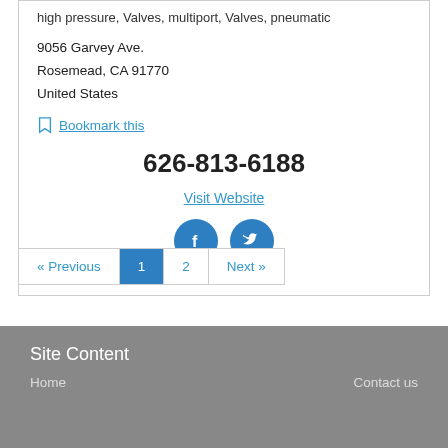high pressure, Valves, multiport, Valves, pneumatic
9056 Garvey Ave.
Rosemead, CA 91770
United States
Bookmark this
626-813-6188
Visit Website
[Figure (other): Facebook and Twitter social media icon buttons (blue circles with white icons)]
« Previous  1  2  Next »
Site Content
Home
Contact us